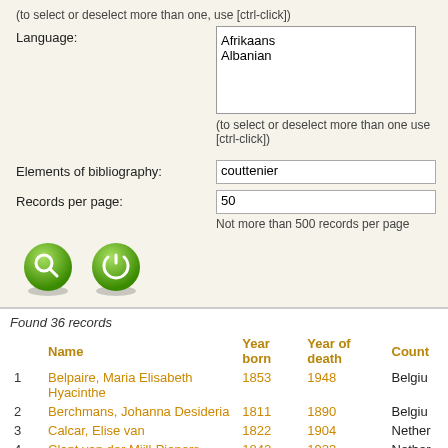(to select or deselect more than one, use [ctrl-click])
Afrikaans
Albanian
Language:
(to select or deselect more than one use [ctrl-click])
Elements of bibliography:
couttenier
Records per page:
50
Not more than 500 records per page
[Figure (other): Two green circular buttons (search and reset)]
Found 36 records
|  | Name | Year born | Year of death | Count |
| --- | --- | --- | --- | --- |
| 1 | Belpaire, Maria Elisabeth Hyacinthe | 1853 | 1948 | Belgiu |
| 2 | Berchmans, Johanna Desideria | 1811 | 1890 | Belgiu |
| 3 | Calcar, Elise van | 1822 | 1904 | Nether |
| 4 | Clant van der Mijll-Piepers, Jeanne | 1842 | 1923 | Nether |
| 5 | Cottin, Sophie | 1770 | 1807 | France |
| 6 | Deken, Agatha | 1741 | 1804 | Nether |